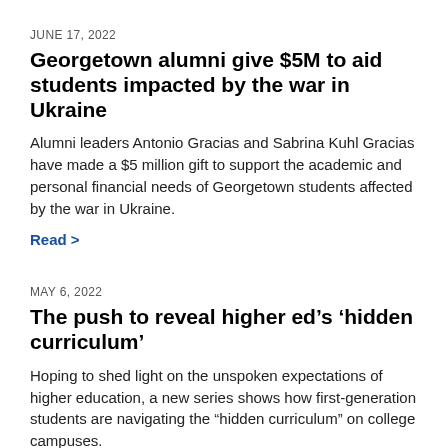JUNE 17, 2022
Georgetown alumni give $5M to aid students impacted by the war in Ukraine
Alumni leaders Antonio Gracias and Sabrina Kuhl Gracias have made a $5 million gift to support the academic and personal financial needs of Georgetown students affected by the war in Ukraine.
Read >
MAY 6, 2022
The push to reveal higher ed’s ‘hidden curriculum’
Hoping to shed light on the unspoken expectations of higher education, a new series shows how first-generation students are navigating the “hidden curriculum” on college campuses.